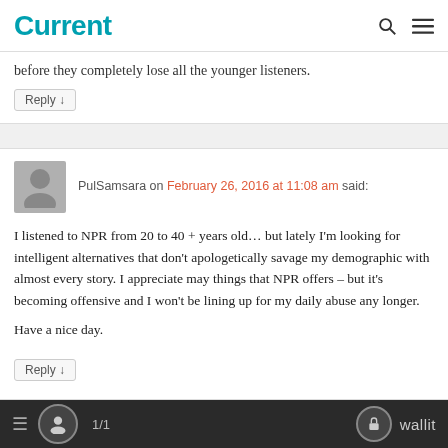Current
before they completely lose all the younger listeners.
Reply ↓
PulSamsara on February 26, 2016 at 11:08 am said:
I listened to NPR from 20 to 40 + years old... but lately I'm looking for intelligent alternatives that don't apologetically savage my demographic with almost every story. I appreciate may things that NPR offers – but it's becoming offensive and I won't be lining up for my daily abuse any longer.

Have a nice day.
Reply ↓
1/1  wallit